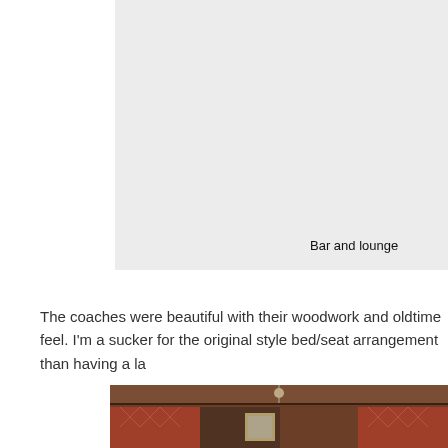[Figure (photo): Interior photo of a bar and lounge area, shown as a light gray placeholder]
Bar and lounge
The coaches were beautiful with their woodwork and oldtime feel. I'm a sucker for the original style bed/seat arrangement than having a la
[Figure (photo): Interior photo of a train coach showing wooden paneling and red patterned upholstery seating along a corridor]